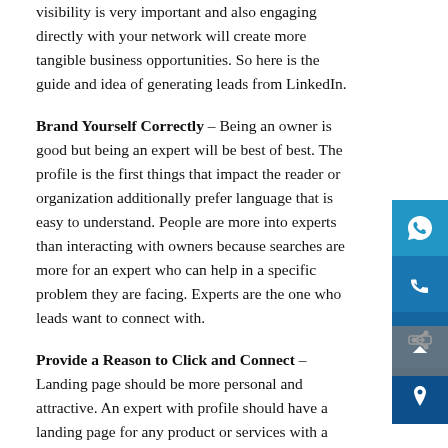visibility is very important and also engaging directly with your network will create more tangible business opportunities. So here is the guide and idea of generating leads from LinkedIn.
Brand Yourself Correctly – Being an owner is good but being an expert will be best of best. The profile is the first things that impact the reader or organization additionally prefer language that is easy to understand. People are more into experts than interacting with owners because searches are more for an expert who can help in a specific problem they are facing. Experts are the one who leads want to connect with.
Provide a Reason to Click and Connect – Landing page should be more personal and attractive. An expert with profile should have a landing page for any product or services with a deal of activeness and it will perform much better way. It's useful to apply the same concept to your profile saying much more compelling headlines and description.